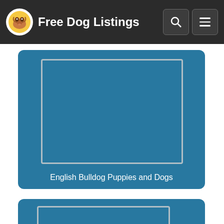Free Dog Listings
[Figure (illustration): Blue card with image placeholder and label 'English Bulldog Puppies and Dogs']
English Bulldog Puppies and Dogs
[Figure (illustration): Partial blue card with image placeholder, second listing card partially visible]